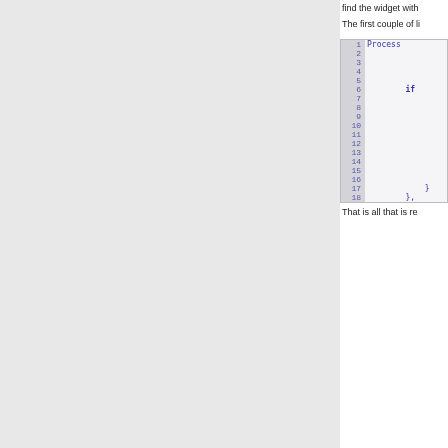find the widget with
The first couple of li
[Figure (screenshot): Code block showing lines 1-18 of source code with line numbers in blue/purple on a gray background, code content in blue on white background. Line 1 shows 'Process', line 6 shows 'if', line 17 shows '}', line 18 shows '},']
That is all that is re